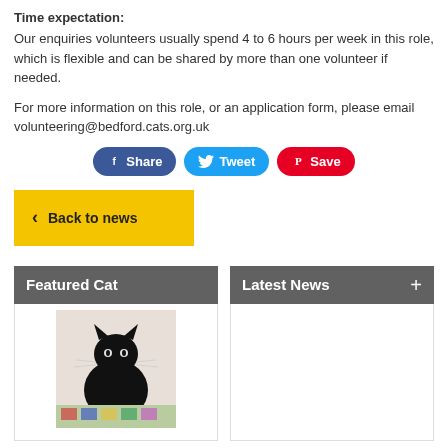Time expectation:
Our enquiries volunteers usually spend 4 to 6 hours per week in this role, which is flexible and can be shared by more than one volunteer if needed.
For more information on this role, or an application form, please email volunteering@bedford.cats.org.uk
[Figure (screenshot): Social share buttons: Facebook Share (blue), Twitter Tweet (light blue), Pinterest Save (red)]
[Figure (screenshot): Yellow 'Back to news' button with left chevron arrow]
[Figure (screenshot): Featured Cat panel header (dark grey) with a photo of a black cat sitting on a patterned surface]
[Figure (screenshot): Latest News panel header (dark grey) with a plus icon, empty body]